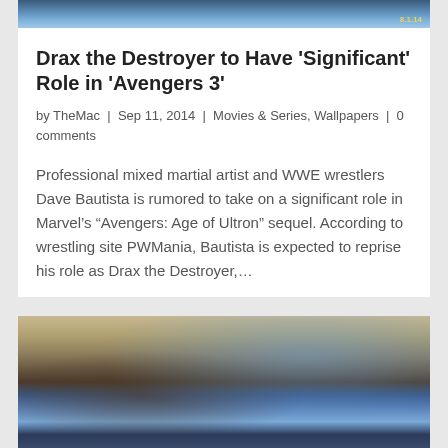[Figure (photo): Top portion of a movie/entertainment image with date stamp '8.1.14']
Drax the Destroyer to Have ‘Significant’ Role in ‘Avengers 3’
by TheMac | Sep 11, 2014 | Movies & Series, Wallpapers | 0 comments
Professional mixed martial artist and WWE wrestlers Dave Bautista is rumored to take on a significant role in Marvel’s “Avengers: Age of Ultron” sequel. According to wrestling site PWMania, Bautista is expected to reprise his role as Drax the Destroyer,…
[Figure (photo): Movie artwork showing superhero characters including Avengers characters in action poses with blue and earth-tone background]